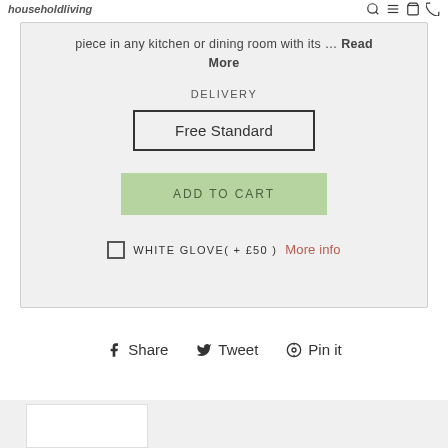household living — search, menu, cart, phone icons
piece in any kitchen or dining room with its … Read More
DELIVERY
Free Standard
ADD TO CART
WHITE GLOVE( + £50 )  More info
Share  Tweet  Pin it